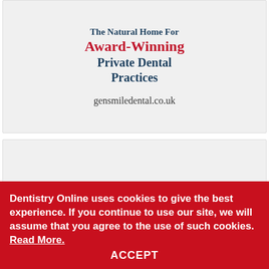[Figure (illustration): Advertisement card for gensmiledental.co.uk with text: The Natural Home For Award-Winning Private Dental Practices, gensmiledental.co.uk]
Become a Dentistry Online member
Dentistry Online uses cookies to give the best experience. If you continue to use our site, we will assume that you agree to the use of such cookies. Read More.
ACCEPT